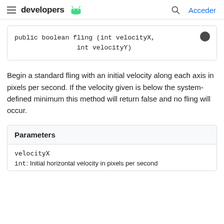developers [android logo] | [search] Acceder
public boolean fling (int velocityX,
                int velocityY)
Begin a standard fling with an initial velocity along each axis in pixels per second. If the velocity given is below the system-defined minimum this method will return false and no fling will occur.
| Parameters |
| --- |
| velocityX | int: Initial horizontal velocity in pixels per second |